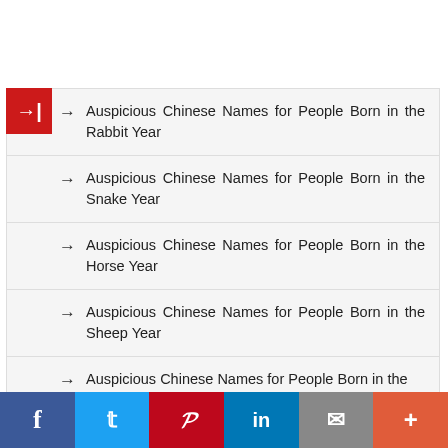Auspicious Chinese Names for People Born in the Rabbit Year
Auspicious Chinese Names for People Born in the Snake Year
Auspicious Chinese Names for People Born in the Horse Year
Auspicious Chinese Names for People Born in the Sheep Year
Auspicious Chinese Names for People Born in the